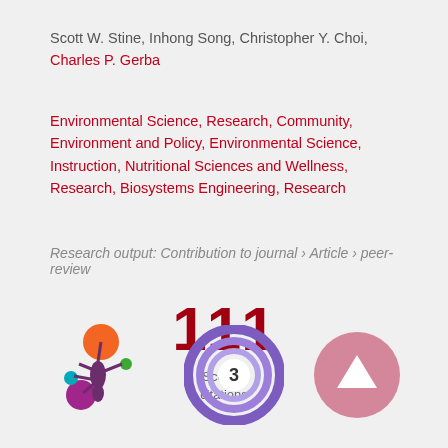Scott W. Stine, Inhong Song, Christopher Y. Choi, Charles P. Gerba
Environmental Science, Research, Community, Environment and Policy, Environmental Science, Instruction, Nutritional Sciences and Wellness, Research, Biosystems Engineering, Research
Research output: Contribution to journal › Article › peer-review
111 Scopus citations
[Figure (infographic): Altmetric donut-style badge with orange and purple circles forming a flower shape]
[Figure (donut-chart): Purple donut chart with number 3 in center]
[Figure (illustration): Pink/mauve upward arrow circle button]